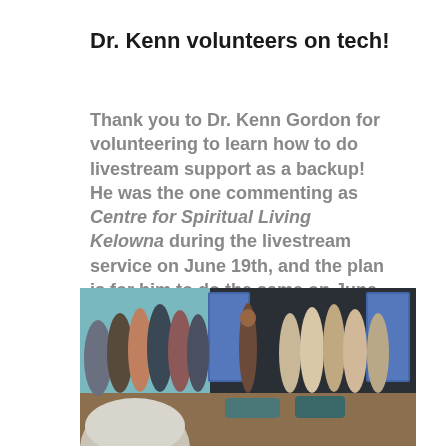Dr. Kenn volunteers on tech!
Thank you to Dr. Kenn Gordon for volunteering to learn how to do livestream support as a backup! He was the one commenting as Centre for Spiritual Living Kelowna during the livestream service on June 19th, and the plan is for him to do the same on June 26th. Thank you, Dr. Kenn!
[Figure (photo): A group of people standing in a meeting room or hall, facing a speaker at the front. There are display screens/banners on either side of the room. The room has a teal/light colored wall on the left and dark curtains/backdrop on the right. Chairs are visible and people are standing. A large foreground head with grey/white hair is visible at the bottom.]